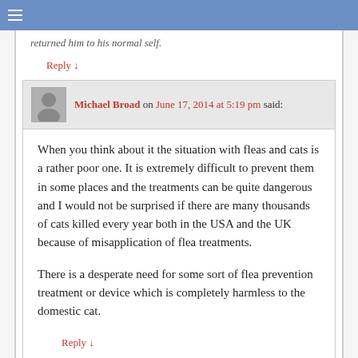≡
returned him to his normal self.
Reply ↓
Michael Broad on June 17, 2014 at 5:19 pm said:
When you think about it the situation with fleas and cats is a rather poor one. It is extremely difficult to prevent them in some places and the treatments can be quite dangerous and I would not be surprised if there are many thousands of cats killed every year both in the USA and the UK because of misapplication of flea treatments.
There is a desperate need for some sort of flea prevention treatment or device which is completely harmless to the domestic cat.
Reply ↓